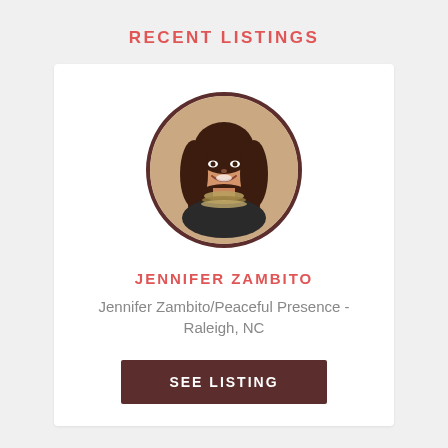RECENT LISTINGS
[Figure (photo): Circular portrait photo of Jennifer Zambito, a woman with long wavy brown hair, smiling, wearing a strapless top and layered necklaces.]
JENNIFER ZAMBITO
Jennifer Zambito/Peaceful Presence - Raleigh, NC
SEE LISTING